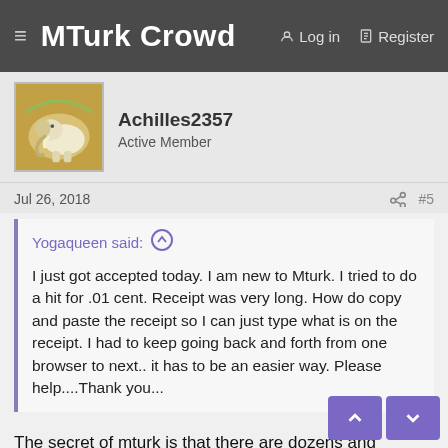≡ MTurk Crowd  🔗 Log in  🗒 Register
Achilles2357
Active Member
Jul 26, 2018  #5
Yogaqueen said: ↑
I just got accepted today. I am new to Mturk. I tried to do a hit for .01 cent. Receipt was very long. How do copy and paste the receipt so I can just type what is on the receipt. I had to keep going back and forth from one browser to next.. it has to be an easier way. Please help....Thank you...
The secret of mturk is that there are dozens and hundreds of easier ways to do everything, but it takes some effort to learn them. If you have just started I would focus on trying to learn. Browse the daily thread and think about what you see people saying. Ask specific questions and people are liable to answer.